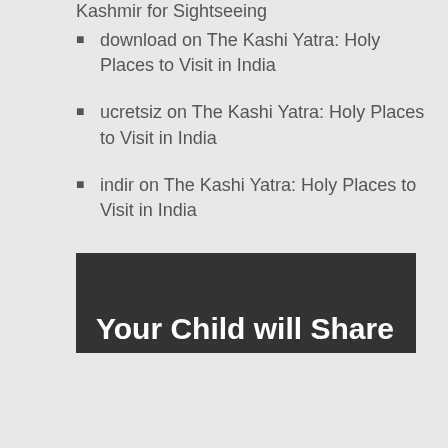Kashmir for Sightseeing
download on The Kashi Yatra: Holy Places to Visit in India
ucretsiz on The Kashi Yatra: Holy Places to Visit in India
indir on The Kashi Yatra: Holy Places to Visit in India
[Figure (other): Dark banner with partial text 'Your Child will Share']